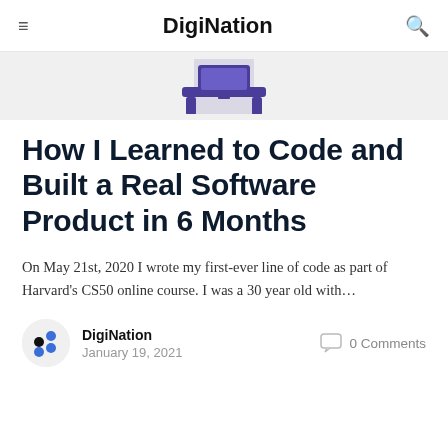DigiNation
[Figure (illustration): Partial view of a purple/indigo icon or logo at the top of an article card, partially cropped]
How I Learned to Code and Built a Real Software Product in 6 Months
On May 21st, 2020 I wrote my first-ever line of code as part of Harvard's CS50 online course. I was a 30 year old with…
DigiNation
January 19, 2021
0 Comments